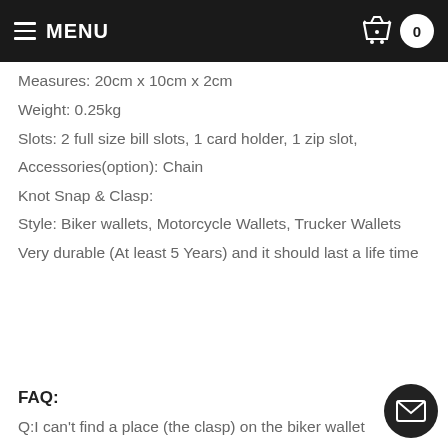MENU
Measures: 20cm x 10cm x 2cm
Weight: 0.25kg
Slots: 2 full size bill slots, 1 card holder, 1 zip slot,
Accessories(option): Chain
Knot Snap & Clasp:
Style: Biker wallets, Motorcycle Wallets, Trucker Wallets
Very durable (At least 5 Years) and it should last a life time
FAQ:
Q:I can't find a place (the clasp) on the biker wallet